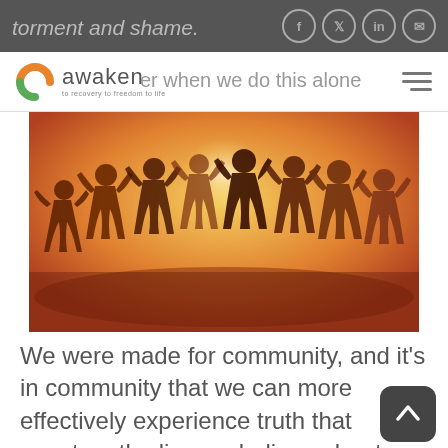torment and shame.
[Figure (logo): Awaken logo — orange/green swirl icon with text 'awaken' and tagline 'to recovery to freedom to life']
harder when we do this alone
[Figure (photo): Paper chain cutout figures holding hands in a circle, backlit with warm golden/orange light]
We were made for community, and it's in community that we can more effectively experience truth that counters the lies we believe about